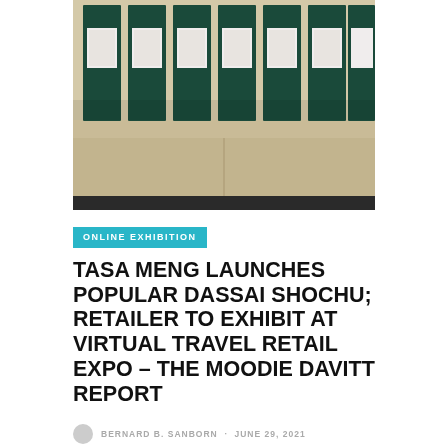[Figure (photo): Photograph of dark green/black packaged products (likely Jo Malone or similar boxed items) arranged in a row on a retail shelf with a beige/cream background.]
ONLINE EXHIBITION
TASA MENG LAUNCHES POPULAR DASSAI SHOCHU; RETAILER TO EXHIBIT AT VIRTUAL TRAVEL RETAIL EXPO – THE MOODIE DAVITT REPORT
BERNARD B. SANBORN · JUNE 29, 2021